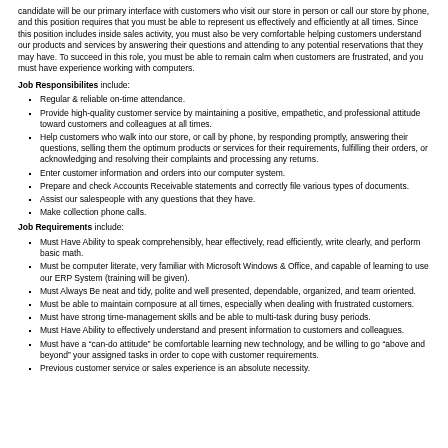candidate will be our primary interface with customers who visit our store in person or call our store by phone, and this position requires that you must be able to represent us effectively and efficiently at all times. Since this position includes inside sales activity, you must also be very comfortable helping customers understand our products and services by answering their questions and attending to any potential reservations that they may have. To succeed in this role, you must be able to remain calm when customers are frustrated, and you must have experience working with computers.
Job Responsibilites include:
Regular & reliable on-time attendance.
Provide high-quality customer service by maintaining a positive, empathetic, and professional attitude toward customers and colleagues at all times.
Help customers who walk into our store, or call by phone, by responding promptly, answering their questions, selling them the optimum products or services for their requirements, fulfilling their orders, or acknowledging and resolving their complaints and processing any returns.
Enter customer information and orders into our computer system.
Prepare and check Accounts Receivable statements and correctly file various types of documents.
Assist our salespeople with any questions that they have.
Make collection phone calls.
Job Requirements include:
Must Have Ability to speak comprehensibly, hear effectively, read efficiently, write clearly, and perform basic math.
Must be computer literate, very familiar with Microsoft Windows & Office, and capable of learning to use our ERP System (training will be given).
Must Always Be neat and tidy, polite and well presented, dependable, organized, and team oriented.
Must be able to maintain composure at all times, especially when dealing with frustrated customers.
Must have strong time-management skills and be able to multi-task during busy periods.
Must Have Ability to effectively understand and present information to customers and colleagues.
Must have a "can-do attitude" be comfortable learning new technology, and be willing to go "above and beyond" your assigned tasks in order to cope with customer requirements.
Previous customer service or sales experience is an absolute necessity.